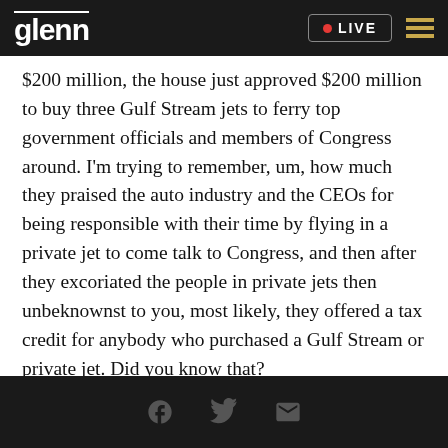glenn • LIVE
$200 million, the house just approved $200 million to buy three Gulf Stream jets to ferry top government officials and members of Congress around. I'm trying to remember, um, how much they praised the auto industry and the CEOs for being responsible with their time by flying in a private jet to come talk to Congress, and then after they excoriated the people in private jets then unbeknownst to you, most likely, they offered a tax credit for anybody who purchased a Gulf Stream or private jet. Did you know that?
Facebook Twitter Email